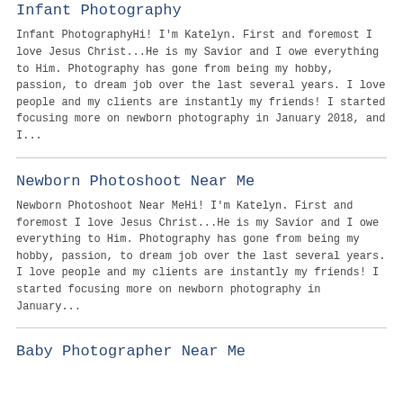Infant Photography
Infant PhotographyHi! I'm Katelyn. First and foremost I love Jesus Christ...He is my Savior and I owe everything to Him. Photography has gone from being my hobby, passion, to dream job over the last several years. I love people and my clients are instantly my friends! I started focusing more on newborn photography in January 2018, and I...
Newborn Photoshoot Near Me
Newborn Photoshoot Near MeHi! I'm Katelyn. First and foremost I love Jesus Christ...He is my Savior and I owe everything to Him. Photography has gone from being my hobby, passion, to dream job over the last several years. I love people and my clients are instantly my friends! I started focusing more on newborn photography in January...
Baby Photographer Near Me